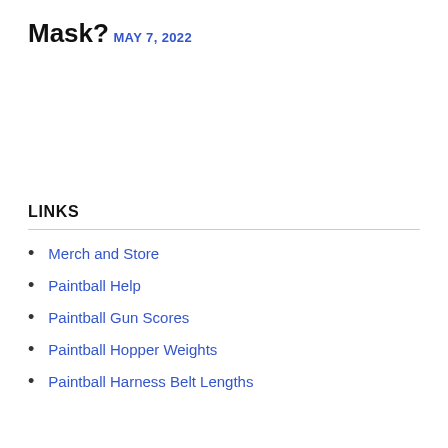Mask?
MAY 7, 2022
LINKS
Merch and Store
Paintball Help
Paintball Gun Scores
Paintball Hopper Weights
Paintball Harness Belt Lengths